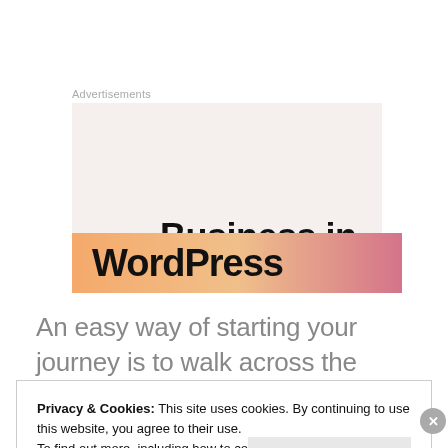Advertisements
[Figure (screenshot): Advertisement banner showing 'Business in the front...' text on a light beige background, with a gradient orange-to-pink bar below containing partial 'WordPress' text]
An easy way of starting your journey is to walk across the Elisabeth Bridge and follow the path up
Privacy & Cookies: This site uses cookies. By continuing to use this website, you agree to their use.
To find out more, including how to control cookies, see here: Cookie Policy
Close and accept